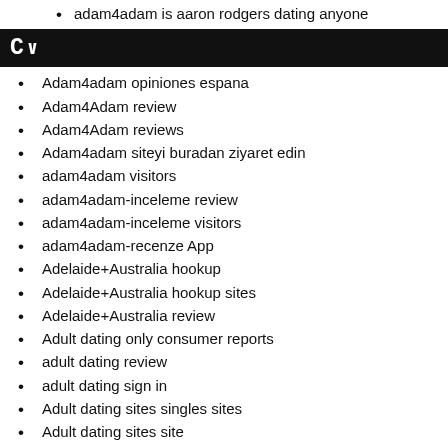adam4adam is aaron rodgers dating anyone
C~
Adam4adam opiniones espana
Adam4Adam review
Adam4Adam reviews
Adam4adam siteyi buradan ziyaret edin
adam4adam visitors
adam4adam-inceleme review
adam4adam-inceleme visitors
adam4adam-recenze App
Adelaide+Australia hookup
Adelaide+Australia hookup sites
Adelaide+Australia review
Adult dating only consumer reports
adult dating review
adult dating sign in
Adult dating sites singles sites
Adult dating sites site
Adult dating sites sites
Adult dating Websites kostenlos
adult friend finder most popular dating apps
Adult Hub visitors
Adult Space meetic site
adult-chat-rooms sign in